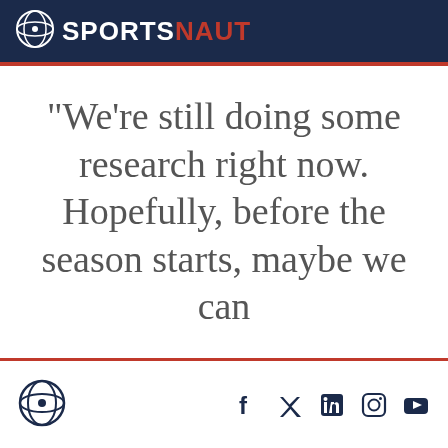SPORTSNAUT
“We’re still doing some research right now. Hopefully, before the season starts, maybe we can
Sportsnaut logo and social icons: f, Twitter, in, Instagram, YouTube